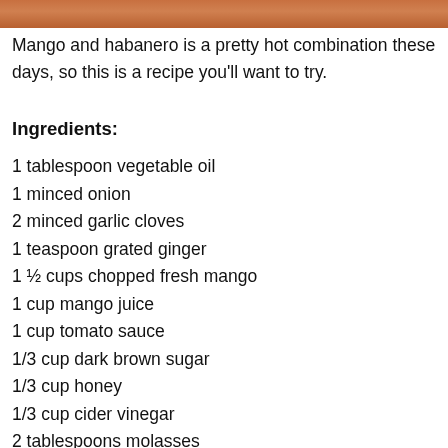[Figure (photo): Top strip of a food image showing mango and habanero dish]
Mango and habanero is a pretty hot combination these days, so this is a recipe you’ll want to try.
Ingredients:
1 tablespoon vegetable oil
1 minced onion
2 minced garlic cloves
1 teaspoon grated ginger
1 ½ cups chopped fresh mango
1 cup mango juice
1 cup tomato sauce
1/3 cup dark brown sugar
1/3 cup honey
1/3 cup cider vinegar
2 tablespoons molasses
2 tablespoons fresh lime juice
1 tablespoon Worcestershire sauce
1 tablespoon yellow mustard
2 teaspoons finely chopped habaneros